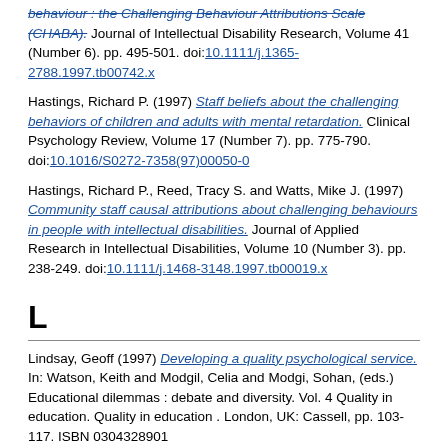behaviour : the Challenging Behaviour Attributions Scale (CHABA). Journal of Intellectual Disability Research, Volume 41 (Number 6). pp. 495-501. doi:10.1111/j.1365-2788.1997.tb00742.x
Hastings, Richard P. (1997) Staff beliefs about the challenging behaviors of children and adults with mental retardation. Clinical Psychology Review, Volume 17 (Number 7). pp. 775-790. doi:10.1016/S0272-7358(97)00050-0
Hastings, Richard P., Reed, Tracy S. and Watts, Mike J. (1997) Community staff causal attributions about challenging behaviours in people with intellectual disabilities. Journal of Applied Research in Intellectual Disabilities, Volume 10 (Number 3). pp. 238-249. doi:10.1111/j.1468-3148.1997.tb00019.x
L
Lindsay, Geoff (1997) Developing a quality psychological service. In: Watson, Keith and Modgil, Celia and Modgi, Sohan, (eds.) Educational dilemmas : debate and diversity. Vol. 4 Quality in education. Quality in education . London, UK: Cassell, pp. 103-117. ISBN 0304328901
Lindsay, Geoff and Thompson, D. (1997) Are we ready for inclusion? In: Lindsay, Geoff and Thompson, David, (eds.) Values into practice in special education. London, UK: D. Fulton Publishers, pp. 89-105. ISBN 185346466X